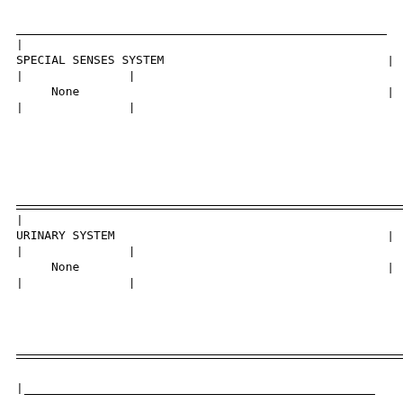| SPECIAL SENSES SYSTEM |  |
| None |  |
| URINARY SYSTEM |  |
| None |  |